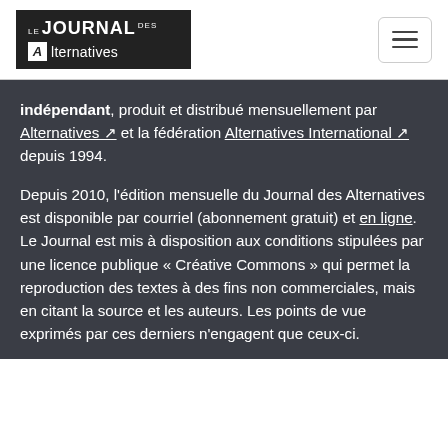[Figure (logo): Le Journal des Alternatives logo — white text on dark background]
indépendant, produit et distribué mensuellement par Alternatives ↗ et la fédération Alternatives International ↗ depuis 1994.

Depuis 2010, l'édition mensuelle du Journal des Alternatives est disponible par courriel (abonnement gratuit) et en ligne. Le Journal est mis à disposition aux conditions stipulées par une licence publique « Créative Commons » qui permet la reproduction des textes à des fins non commerciales, mais en citant la source et les auteurs. Les points de vue exprimés par ces derniers n'engagent que ceux-ci.